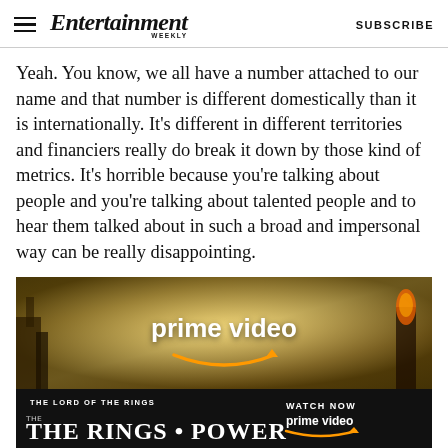Entertainment Weekly — SUBSCRIBE
Yeah. You know, we all have a number attached to our name and that number is different domestically than it is internationally. It's different in different territories and financiers really do break it down by those kind of metrics. It's horrible because you're talking about people and you're talking about talented people and to hear them talked about in such a broad and impersonal way can be really disappointing.
[Figure (illustration): Amazon Prime Video advertisement banner showing 'prime video' logo with smile arrow icon over a fantasy landscape background, with a lower black bar reading 'THE LORD OF THE RINGS THE RINGS OF POWER' on the left and 'WATCH NOW prime video' on the right.]